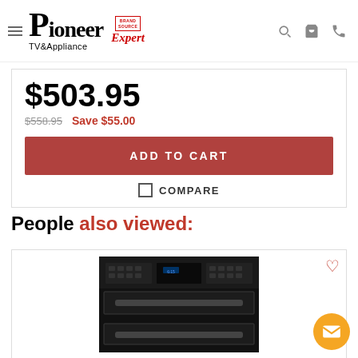Pioneer TV & Appliance — Brand Source Expert
$503.95
$558.95  Save $55.00
ADD TO CART
COMPARE
People also viewed:
[Figure (photo): Black double wall oven product image]